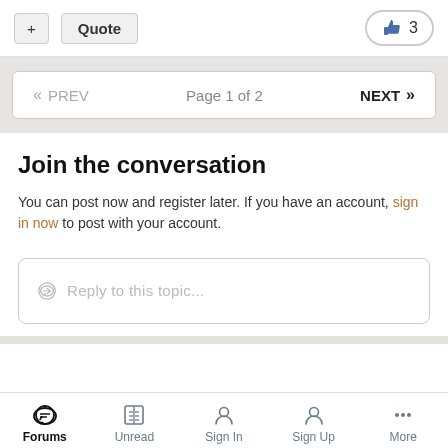+ Quote  👍 3
« PREV   Page 1 of 2   NEXT »
Join the conversation
You can post now and register later. If you have an account, sign in now to post with your account.
💬 Reply to this topic...
Forums  Unread  Sign In  Sign Up  More